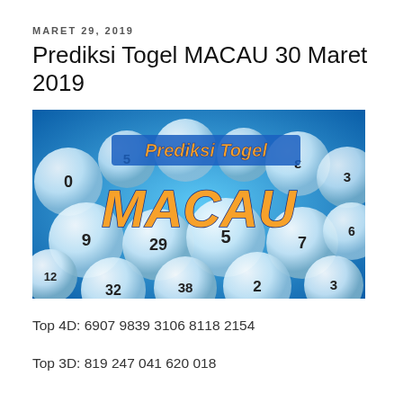MARET 29, 2019
Prediksi Togel MACAU 30 Maret 2019
[Figure (photo): Lottery balls photo with text 'Prediksi Togel MACAU' overlaid in orange and blue on a blue background with numbered white lottery balls.]
Top 4D: 6907 9839 3106 8118 2154
Top 3D: 819 247 041 620 018